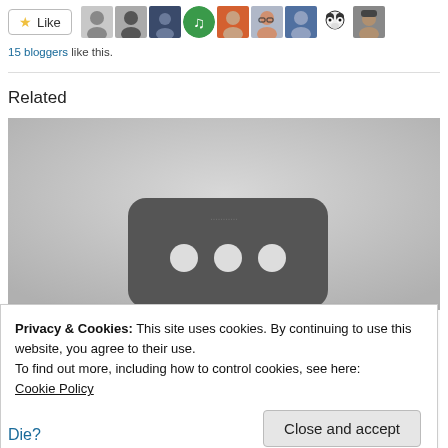[Figure (other): Like button with star icon and a row of 9 blogger avatar profile images]
15 bloggers like this.
Related
[Figure (photo): Grayscale image of a dark rounded device with three white circular buttons]
Privacy & Cookies: This site uses cookies. By continuing to use this website, you agree to their use.
To find out more, including how to control cookies, see here:
Cookie Policy
Close and accept
Die?